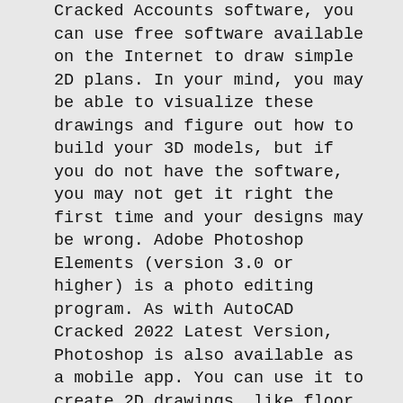Cracked Accounts software, you can use free software available on the Internet to draw simple 2D plans. In your mind, you may be able to visualize these drawings and figure out how to build your 3D models, but if you do not have the software, you may not get it right the first time and your designs may be wrong. Adobe Photoshop Elements (version 3.0 or higher) is a photo editing program. As with AutoCAD Cracked 2022 Latest Version, Photoshop is also available as a mobile app. You can use it to create 2D drawings, like floor plans and electrical schematics. Windows: Downloaded from the Autodesk website at adobefor free trial download Mac OSX: Adobefor free trial download Linux: Downloaded from the Autodesk website at adobefor free trial download Windows: Get it directly from the AutoCAD Crack website at no cost Adobe Photoshop Elements: Downloaded from the Autodesk website at no cost For more details about software applications and their price, see our FAQ. If you are looking to get a software application, you should first check whether you can get it